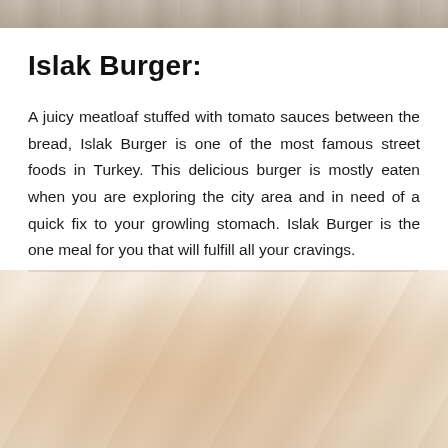[Figure (photo): Top portion of a food photo, partially cropped, showing a wooden surface or food item]
Islak Burger:
A juicy meatloaf stuffed with tomato sauces between the bread, Islak Burger is one of the most famous street foods in Turkey. This delicious burger is mostly eaten when you are exploring the city area and in need of a quick fix to your growling stomach. Islak Burger is the one meal for you that will fulfill all your cravings.
[Figure (photo): A faded, warm-toned food photo of what appears to be an Islak Burger, partially visible at the bottom of the page]